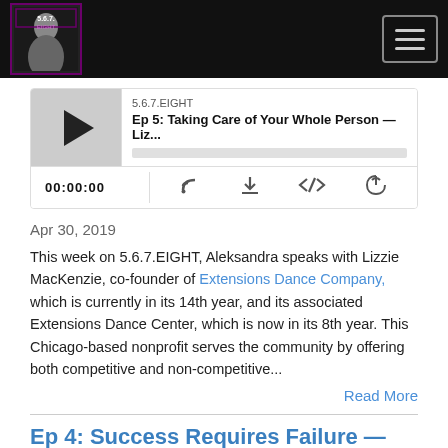[Figure (screenshot): Website header navigation bar with podcast logo (5.6.7.EIGHT) on the left and hamburger menu button on the right, dark background]
[Figure (screenshot): Podcast audio player widget showing episode 'Ep 5: Taking Care of Your Whole Person — Liz...' with play button, time 00:00:00, and control icons for RSS, download, embed, and share]
Apr 30, 2019
This week on 5.6.7.EIGHT, Aleksandra speaks with Lizzie MacKenzie, co-founder of Extensions Dance Company, which is currently in its 14th year, and its associated Extensions Dance Center, which is now in its 8th year. This Chicago-based nonprofit serves the community by offering both competitive and non-competitive...
Read More
Ep 4: Success Requires Failure — Tania